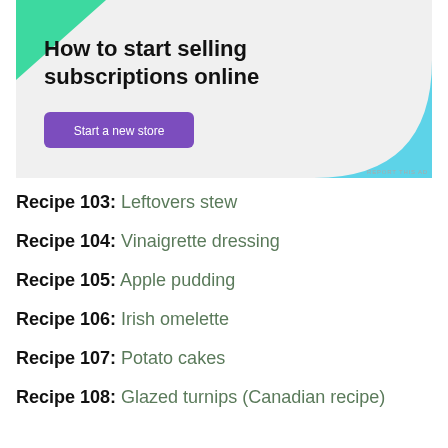[Figure (screenshot): Advertisement banner with green triangle, blue quarter-circle decorations, text 'How to start selling subscriptions online', and a purple 'Start a new store' button on a light gray background]
Recipe 103: Leftovers stew
Recipe 104: Vinaigrette dressing
Recipe 105: Apple pudding
Recipe 106: Irish omelette
Recipe 107: Potato cakes
Recipe 108: Glazed turnips (Canadian recipe)